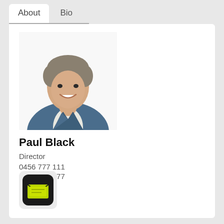About   Bio
[Figure (photo): Professional headshot of Paul Black, a man in a blue blazer and white shirt, smiling, against a white background]
Paul Black
Director
0456 777 111
02 4312 8177
[Figure (logo): App icon with dark background and yellow/green envelope icon]